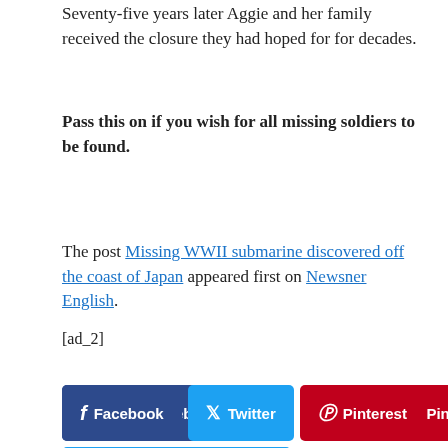Seventy-five years later Aggie and her family received the closure they had hoped for for decades.
Pass this on if you wish for all missing soldiers to be found.
The post Missing WWII submarine discovered off the coast of Japan appeared first on Newsner English.
[ad_2]
[Figure (other): Social share buttons for Facebook, Twitter, Pinterest, and LinkedIn]
Recommended
« Breaking: Jimmy Carter recovering after procedure to